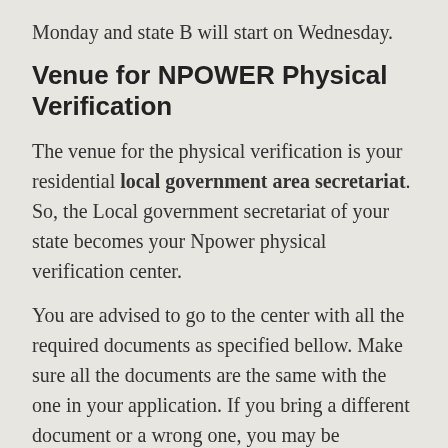Monday and state B will start on Wednesday.
Venue for NPOWER Physical Verification
The venue for the physical verification is your residential local government area secretariat. So, the Local government secretariat of your state becomes your Npower physical verification center.
You are advised to go to the center with all the required documents as specified bellow. Make sure all the documents are the same with the one in your application. If you bring a different document or a wrong one, you may be disqualify thereby your name will not appear in the final selection list.
Other Important Update
1. Do not bring your BVN slip to the physical